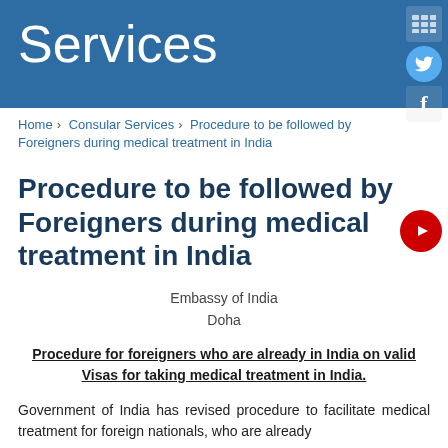Services
Home › Consular Services › Procedure to be followed by Foreigners during medical treatment in India
Procedure to be followed by Foreigners during medical treatment in India
Embassy of India
Doha
Procedure for foreigners who are already in India on valid Visas for taking medical treatment in India.
Government of India has revised procedure to facilitate medical treatment for foreign nationals, who are already